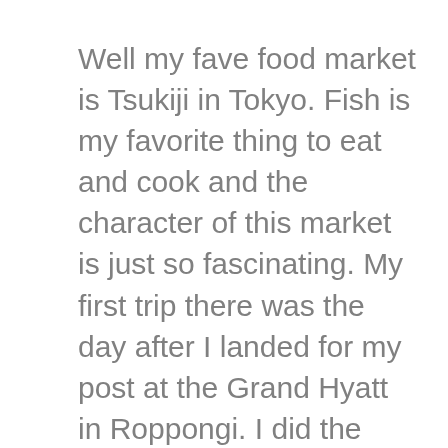Well my fave food market is Tsukiji in Tokyo. Fish is my favorite thing to eat and cook and the character of this market is just so fascinating. My first trip there was the day after I landed for my post at the Grand Hyatt in Roppongi. I did the tour with Tetsuya Wakuda....pretty stellar huh. Over the years I have been able to tour the market around 30 times and always would see countless new ingredients. Then there is the food.....oh my the food! ramen, grilled eel, fresh soy milk, crab tomago, tempura udon and of course endless sushi and sashimi. Its a shame that the old market will be closing its door this year but nothing lasts forever. I am truly grateful that I